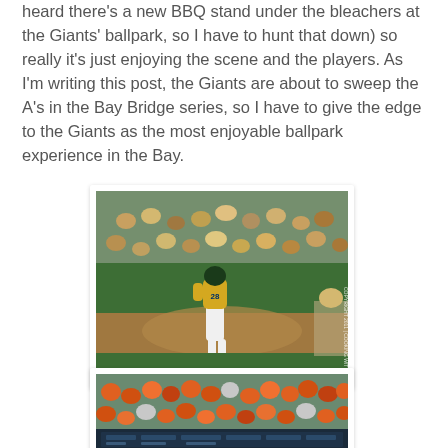heard there's a new BBQ stand under the bleachers at the Giants' ballpark, so I have to hunt that down) so really it's just enjoying the scene and the players. As I'm writing this post, the Giants are about to sweep the A's in the Bay Bridge series, so I have to give the edge to the Giants as the most enjoyable ballpark experience in the Bay.
[Figure (photo): Oakland A's baseball player #28 running on the field in a yellow jersey and white pants, with fans in the green stadium bleachers in the background. Copyright watermark visible on the right side.]
[Figure (photo): Crowd of baseball fans at a stadium, many wearing orange San Francisco Giants gear, seated in bleacher seats with a scoreboard visible in the background.]